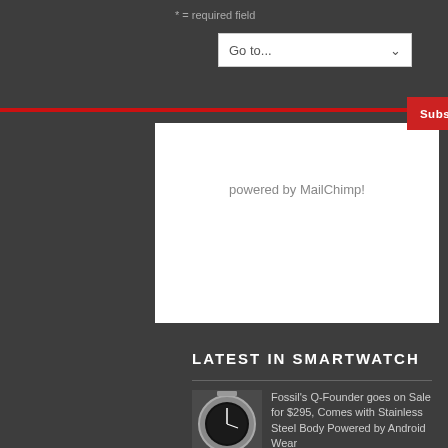* = required field
Go to...
Subscribe
powered by MailChimp!
LATEST IN SMARTWATCH
Fossil's Q-Founder goes on Sale for $295, Comes with Stainless Steel Body Powered by Android Wear
November 26, 2015
[Figure (photo): Fossil Q-Founder smartwatch with stainless steel bracelet]
LG Watch Urbane 2nd Edition Smartwatch with Android Wear Announced
October 1, 2015
[Figure (photo): LG Watch Urbane 2nd Edition smartwatch]
Motorola Announces New Moto 360 at IFA 2015